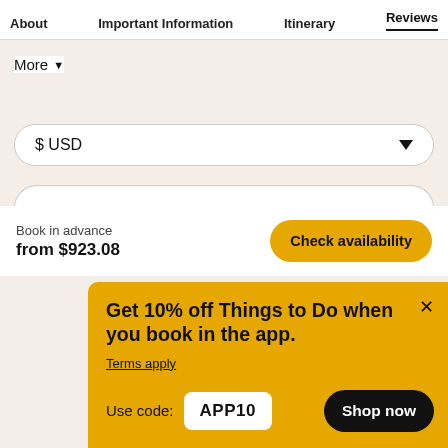About  Important Information  Itinerary  Reviews
More ▾
$USD
Book in advance
from $923.08
Check availability
Get 10% off Things to Do when you book in the app.
Terms apply
Use code:
APP10
Shop now